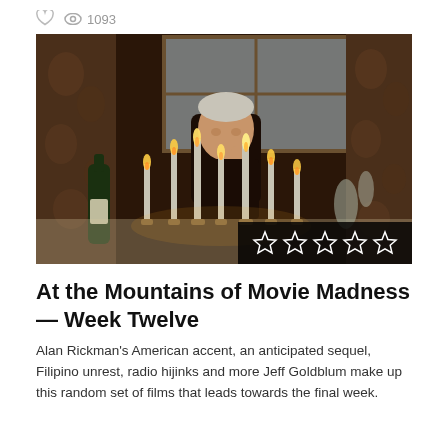♥  👁 1093
[Figure (photo): A man (Alan Rickman) sitting at a table with multiple lit candles in candlesticks in front of him, in a dimly lit room with floral wallpaper and a window visible in the background. A wine bottle is visible on the left side. A star rating overlay (5 empty stars) appears in the bottom-right corner of the image.]
At the Mountains of Movie Madness — Week Twelve
Alan Rickman's American accent, an anticipated sequel, Filipino unrest, radio hijinks and more Jeff Goldblum make up this random set of films that leads towards the final week.